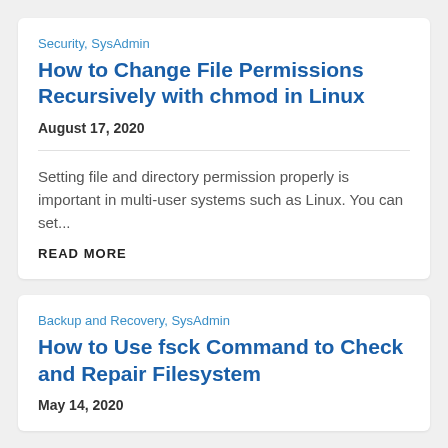Security, SysAdmin
How to Change File Permissions Recursively with chmod in Linux
August 17, 2020
Setting file and directory permission properly is important in multi-user systems such as Linux. You can set...
READ MORE
Backup and Recovery, SysAdmin
How to Use fsck Command to Check and Repair Filesystem
May 14, 2020